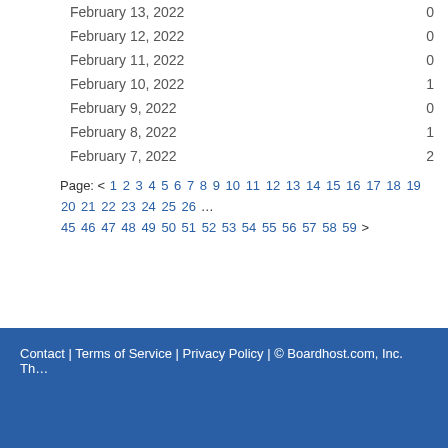| Date | Count |
| --- | --- |
| February 13, 2022 | 0 |
| February 12, 2022 | 0 |
| February 11, 2022 | 0 |
| February 10, 2022 | 1 |
| February 9, 2022 | 0 |
| February 8, 2022 | 1 |
| February 7, 2022 | 2 |
Page: < 1 2 3 4 5 6 7 8 9 10 11 12 13 14 15 16 17 18 19 20 21 22 23 24 25 26 … 45 46 47 48 49 50 51 52 53 54 55 56 57 58 59 >
Contact | Terms of Service | Privacy Policy | © Boardhost.com, Inc.  Th…